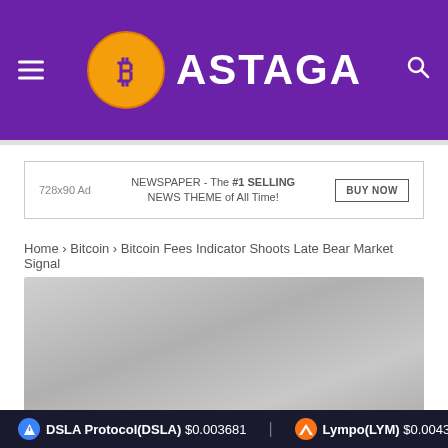[Figure (logo): Bastaga crypto news website header logo with Bitcoin coin icon and ASTAGA text in white on purple background]
[Figure (other): 728x90 Ad banner: NEWSPAPER - The #1 SELLING NEWS THEME of All Time! with BUY NOW button]
Home › Bitcoin › Bitcoin Fees Indicator Shoots Late Bear Market Signal
[Figure (photo): Article featured image, gray gradient placeholder]
DSLA Protocol(DSLA) $0.003681   Lympo(LYM) $0.004392